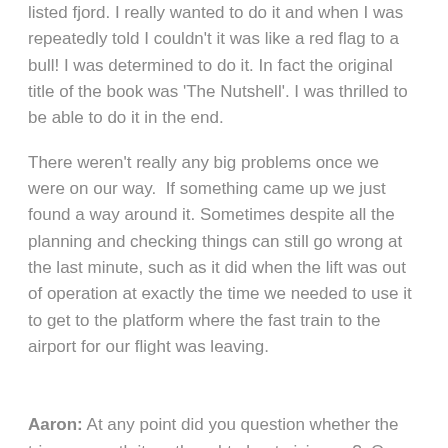listed fjord. I really wanted to do it and when I was repeatedly told I couldn't it was like a red flag to a bull! I was determined to do it. In fact the original title of the book was 'The Nutshell'. I was thrilled to be able to do it in the end.
There weren't really any big problems once we were on our way.  If something came up we just found a way around it. Sometimes despite all the planning and checking things can still go wrong at the last minute, such as it did when the lift was out of operation at exactly the time we needed to use it to get to the platform where the fast train to the airport for our flight was leaving.
Aaron: At any point did you question whether the trip was worth it, or thought about giving up?  Or perhaps wished you had chosen to visit a more disability-friendly destination?